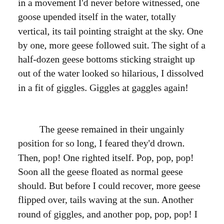in a movement I'd never before witnessed, one goose upended itself in the water, totally vertical, its tail pointing straight at the sky. One by one, more geese followed suit. The sight of a half-dozen geese bottoms sticking straight up out of the water looked so hilarious, I dissolved in a fit of giggles. Giggles at gaggles again!
The geese remained in their ungainly position for so long, I feared they'd drown. Then, pop! One righted itself. Pop, pop, pop! Soon all the geese floated as normal geese should. But before I could recover, more geese flipped over, tails waving at the sun. Another round of giggles, and another pop, pop, pop! I wanted to watch and laugh the day away, but Kevin insisted he'd had enough silliness and wanted to take our hike. I recall thinking they resembled ducks